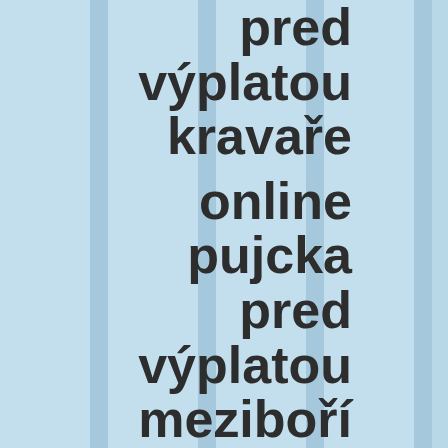pred výplatou kravaře
online pujcka pred výplatou meziboří
online pujcka pred výplatou